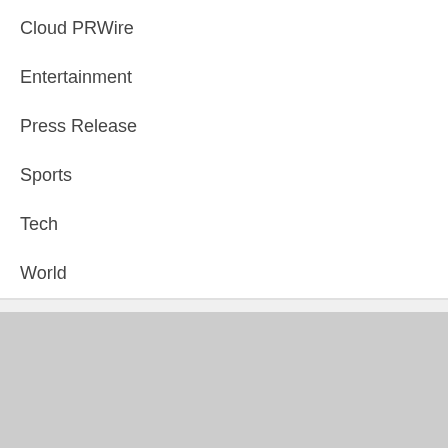Cloud PRWire
Entertainment
Press Release
Sports
Tech
World
[Figure (other): Gray placeholder area with an orange back-to-top button (chevron up arrow) in the bottom-right corner]